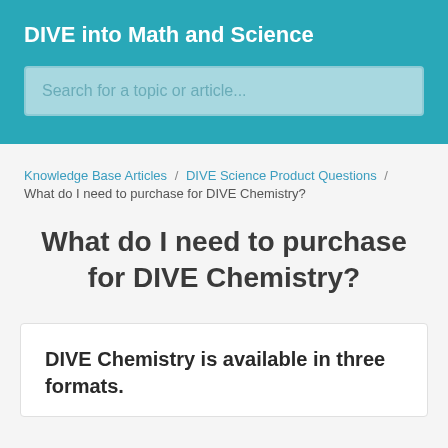DIVE into Math and Science
Search for a topic or article...
Knowledge Base Articles / DIVE Science Product Questions / What do I need to purchase for DIVE Chemistry?
What do I need to purchase for DIVE Chemistry?
DIVE Chemistry is available in three formats.